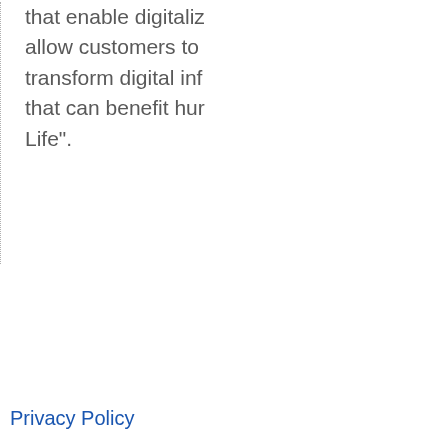that enable digitaliz... allow customers to transform digital inf... that can benefit hur... Life".
Privacy Policy